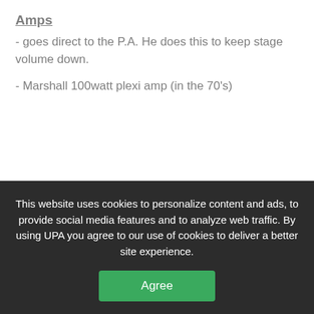Amps
- goes direct to the P.A. He does this to keep stage volume down.
- Marshall 100watt plexi amp (in the 70's)
Effects
This website uses cookies to personalize content and ads, to provide social media features and to analyze web traffic. By using UPA you agree to our use of cookies to deliver a better site experience.
Agree